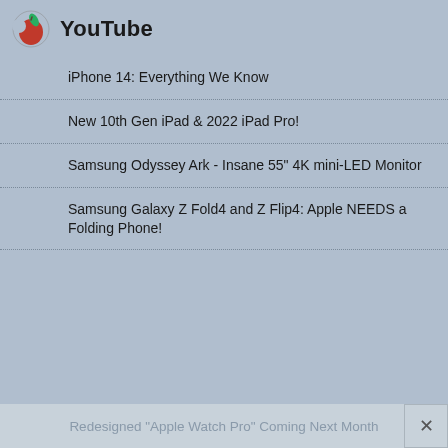YouTube
iPhone 14: Everything We Know
New 10th Gen iPad & 2022 iPad Pro!
Samsung Odyssey Ark - Insane 55" 4K mini-LED Monitor
Samsung Galaxy Z Fold4 and Z Flip4: Apple NEEDS a Folding Phone!
Redesigned "Apple Watch Pro" Coming Next Month